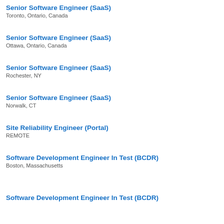Senior Software Engineer (SaaS)
Toronto, Ontario, Canada
Senior Software Engineer (SaaS)
Ottawa, Ontario, Canada
Senior Software Engineer (SaaS)
Rochester, NY
Senior Software Engineer (SaaS)
Norwalk, CT
Site Reliability Engineer (Portal)
REMOTE
Software Development Engineer In Test (BCDR)
Boston, Massachusetts
Software Development Engineer In Test (BCDR)